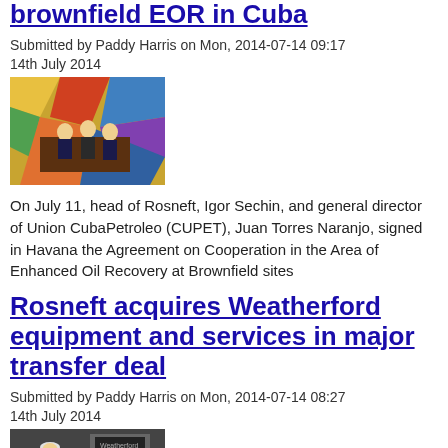brownfield EOR in Cuba
Submitted by Paddy Harris on Mon, 2014-07-14 09:17
14th July 2014
[Figure (photo): Photo of officials signing agreement at a table with colorful backdrop]
On July 11, head of Rosneft, Igor Sechin, and general director of Union CubaPetroleo (CUPET), Juan Torres Naranjo, signed in Havana the Agreement on Cooperation in the Area of Enhanced Oil Recovery at Brownfield sites
Rosneft acquires Weatherford equipment and services in major transfer deal
Submitted by Paddy Harris on Mon, 2014-07-14 08:27
14th July 2014
[Figure (photo): Photo of a person in hard hat standing in front of industrial equipment]